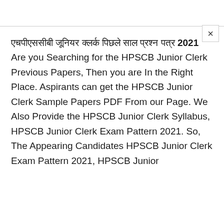एचपीएससीबी जूनियर क्लर्क पिछले साल प्रश्न पत्र 2021 Are you Searching for the HPSCB Junior Clerk Previous Papers, Then you are In the Right Place. Aspirants can get the HPSCB Junior Clerk Sample Papers PDF From our Page. We Also Provide the HPSCB Junior Clerk Syllabus, HPSCB Junior Clerk Exam Pattern 2021. So, The Appearing Candidates HPSCB Junior Clerk Exam Pattern 2021, HPSCB Junior